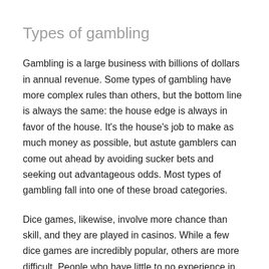Types of gambling
Gambling is a large business with billions of dollars in annual revenue. Some types of gambling have more complex rules than others, but the bottom line is always the same: the house edge is always in favor of the house. It's the house's job to make as much money as possible, but astute gamblers can come out ahead by avoiding sucker bets and seeking out advantageous odds. Most types of gambling fall into one of these broad categories.
Dice games, likewise, involve more chance than skill, and they are played in casinos. While a few dice games are incredibly popular, others are more difficult. People who have little to no experience in card games often play dice games. Regardless of the strategy involved, dice games